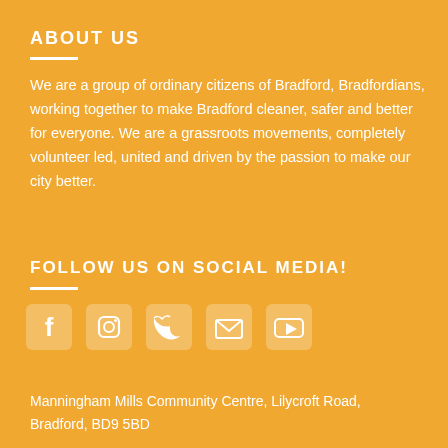ABOUT US
We are a group of ordinary citizens of Bradford, Bradfordians, working together to make Bradford cleaner, safer and better for everyone. We are a grassroots movements, completely volunteer led, united and driven by the passion to make our city better.
FOLLOW US ON SOCIAL MEDIA!
[Figure (infographic): Row of social media icons: Facebook, Instagram, Twitter, Email, YouTube]
Manningham Mills Community Centre, Lilycroft Road, Bradford, BD9 5BD